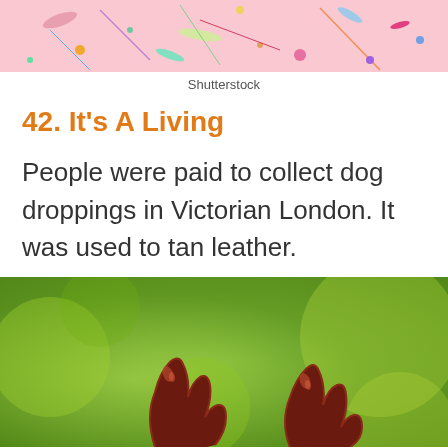[Figure (photo): Top portion of a colorful paint splatter image on a pink/white background, partially cropped]
Shutterstock
42. It's A Living
People were paid to collect dog droppings in Victorian London. It was used to tan leather.
[Figure (photo): Close-up photo of dark reddish-brown dog droppings on a green grassy background, partially cropped at bottom]